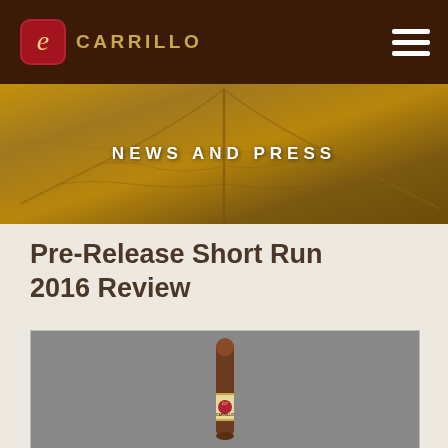E.P. CARRILLO
NEWS AND PRESS
Pre-Release Short Run 2016 Review
[Figure (photo): A single E.P. Carrillo cigar standing upright against a gray background, showing the gold and red band label with 'E.P. CARRILLO' text.]